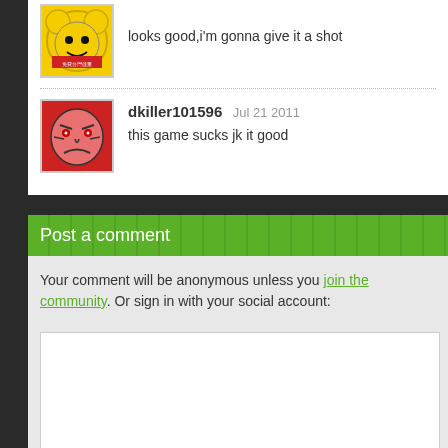looks good,i'm gonna give it a shot
dkiller101596 Jul 21 2011
this game sucks jk it good
Post a comment
Your comment will be anonymous unless you join the community. Or sign in with your social account: